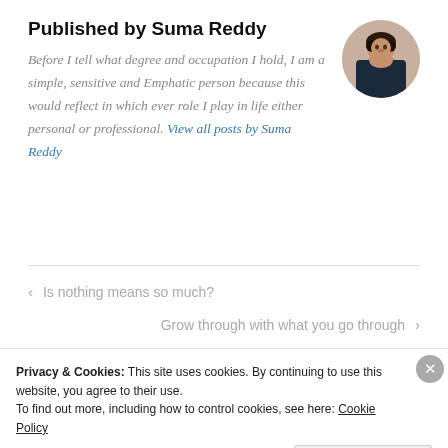Published by Suma Reddy
Before I tell what degree and occupation I hold, I am a simple, sensitive and Emphatic person because this would reflect in which ever role I play in life either personal or professional. View all posts by Suma Reddy
[Figure (photo): Circular profile photo of Suma Reddy]
< Is nothing means so much?
Grow through with what you go through >
Privacy & Cookies: This site uses cookies. By continuing to use this website, you agree to their use.
To find out more, including how to control cookies, see here: Cookie Policy
Close and accept